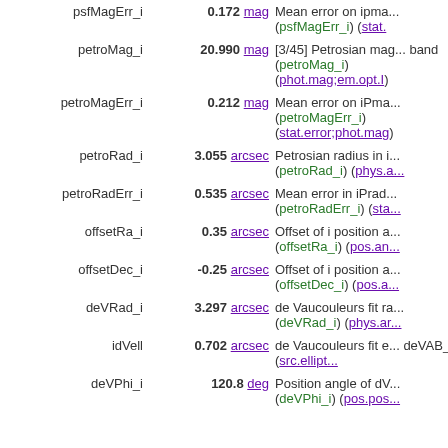| Name | Value | Description |
| --- | --- | --- |
| psfMagErr_i | 0.172 mag | Mean error on ipma... (psfMagErr_i) (stat.... |
| petroMag_i | 20.990 mag | [3/45] Petrosian mag... band (petroMag_i) (phot.mag;em.opt.I) |
| petroMagErr_i | 0.212 mag | Mean error on iPma... (petroMagErr_i) (stat.error;phot.mag) |
| petroRad_i | 3.055 arcsec | Petrosian radius in i... (petroRad_i) (phys.a...) |
| petroRadErr_i | 0.535 arcsec | Mean error in iPrad... (petroRadErr_i) (sta...) |
| offsetRa_i | 0.35 arcsec | Offset of i position a... (offsetRa_i) (pos.an...) |
| offsetDec_i | -0.25 arcsec | Offset of i position a... (offsetDec_i) (pos.a...) |
| deVRad_i | 3.297 arcsec | de Vaucouleurs fit ra... (deVRad_i) (phys.ar...) |
| idVell | 0.702 arcsec | de Vaucouleurs fit e... deVAB_i) (src.ellipt...) |
| deVPhi_i | 120.8 deg | Position angle of dV... (deVPhi_i) (pos.pos...) |